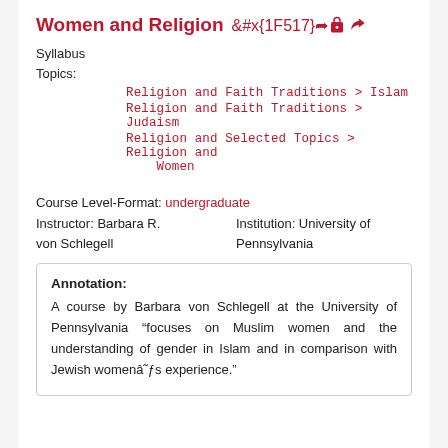Women and Religion
Syllabus
Topics:
Religion and Faith Traditions > Islam
Religion and Faith Traditions > Judaism
Religion and Selected Topics > Religion and Women
Course Level-Format: undergraduate
Instructor: Barbara R. von Schlegell
Institution: University of Pennsylvania
Annotation:
A course by Barbara von Schlegell at the University of Pennsylvania "focuses on Muslim women and the understanding of gender in Islam and in comparison with Jewish womenâs experience."